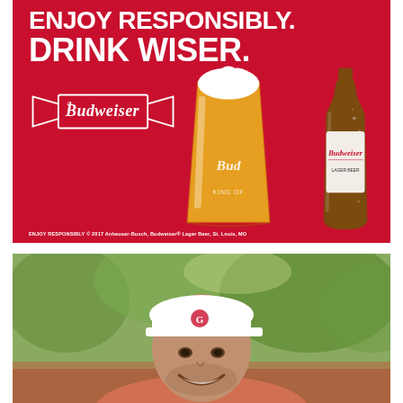[Figure (illustration): Budweiser 'Enjoy Responsibly. Drink Wiser.' red advertisement with Budweiser bowtie logo, a pint glass of beer and a Budweiser bottle on red background. Footer text: ENJOY RESPONSIBLY © 2017 Anheuser-Busch, Budweiser® Lager Beer, St. Louis, MO]
[Figure (photo): Smiling man wearing a white baseball cap with a red logo, outdoors with blurred trees in the background, partial view of a red object in lower portion]